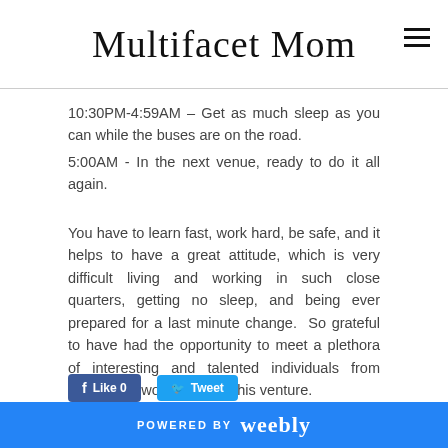Multifacet Mom
10:30PM-4:59AM  –  Get as much sleep as you can while the buses are on the road.
5:00AM - In the next venue, ready to do it all again.
You have to learn fast, work hard, be safe, and it helps to have a great attitude, which is very difficult living and working in such close quarters, getting no sleep, and being ever prepared for a last minute change.  So grateful to have had the opportunity to meet a plethora of interesting and talented individuals from around the world through this venture.
POWERED BY weebly